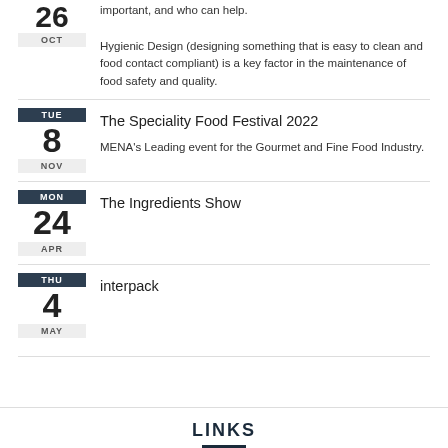important, and who can help. Hygienic Design (designing something that is easy to clean and food contact compliant) is a key factor in the maintenance of food safety and quality.
The Speciality Food Festival 2022 — TUE 8 NOV — MENA's Leading event for the Gourmet and Fine Food Industry.
The Ingredients Show — MON 24 APR
interpack — THU 4 MAY
LINKS